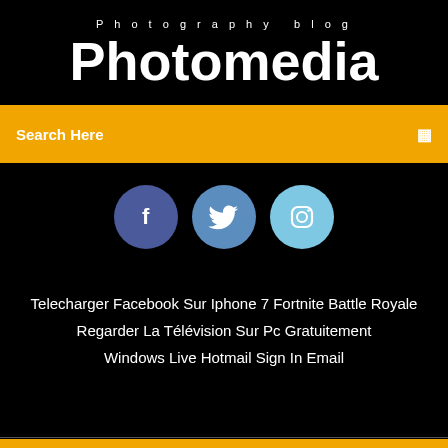Photography blog
Photomedia
Search Here
[Figure (illustration): Three social media icons: Facebook (dark blue circle with 'f'), Twitter (medium blue circle with bird icon), Instagram (light blue circle with camera icon)]
Telecharger Facebook Sur Iphone 7 Fortnite Battle Royale
Regarder La Télévision Sur Pc Gratuitement
Windows Live Hotmail Sign In Email